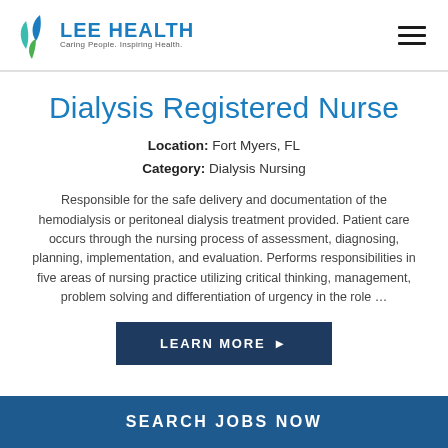LEE HEALTH — Caring People. Inspiring Health.
Dialysis Registered Nurse
Location: Fort Myers, FL
Category: Dialysis Nursing
Responsible for the safe delivery and documentation of the hemodialysis or peritoneal dialysis treatment provided. Patient care occurs through the nursing process of assessment, diagnosing, planning, implementation, and evaluation. Performs responsibilities in five areas of nursing practice utilizing critical thinking, management, problem solving and differentiation of urgency in the role …
[Figure (other): LEARN MORE button with right arrow]
SEARCH JOBS NOW